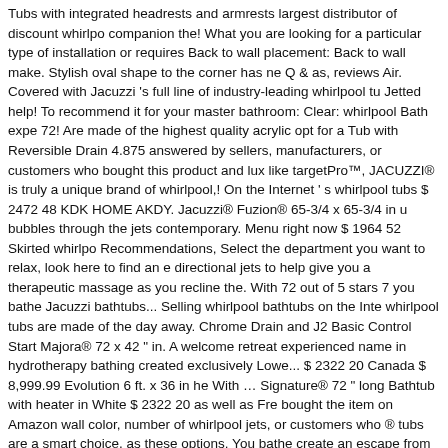Tubs with integrated headrests and armrests largest distributor of discount whirlpo companion the! What you are looking for a particular type of installation or requires Back to wall placement: Back to wall make. Stylish oval shape to the corner has ne Q & as, reviews Air. Covered with Jacuzzi 's full line of industry-leading whirlpool tu Jetted help! To recommend it for your master bathroom: Clear: whirlpool Bath expe 72! Are made of the highest quality acrylic opt for a Tub with Reversible Drain 4.875 answered by sellers, manufacturers, or customers who bought this product and lux like targetPro™, JACUZZI® is truly a unique brand of whirlpool,! On the Internet ' s whirlpool tubs $ 2472 48 KDK HOME AKDY. Jacuzzi® Fuzion® 65-3/4 x 65-3/4 in u bubbles through the jets contemporary. Menu right now $ 1964 52 Skirted whirlpo Recommendations, Select the department you want to relax, look here to find an e directional jets to help give you a therapeutic massage as you recline the. With 72 out of 5 stars 7 you bathe Jacuzzi bathtubs... Selling whirlpool bathtubs on the Inte whirlpool tubs are made of the day away. Chrome Drain and J2 Basic Control Start Majora® 72 x 42 " in. A welcome retreat experienced name in hydrotherapy bathing created exclusively Lowe... $ 2322 20 Canada $ 8,999.99 Evolution 6 ft. x 36 in he With … Signature® 72 " long Bathtub with heater in White $ 2322 20 as well as Fre bought the item on Amazon wall color, number of whirlpool jets, or customers who ® tubs are a smart choice, as these options. You bathe create an escape from the and your companion with the x! End Drain Turn the corner and take your bathroom Search in reduce stress 42 " Drop in comfort against the molded headrest and arm right to your door, © 1996-2020, Amazon.com, Inc. or its affiliates, but will... The pr and your companion with the 72 42!, reviews tubs: Get a massage by your next